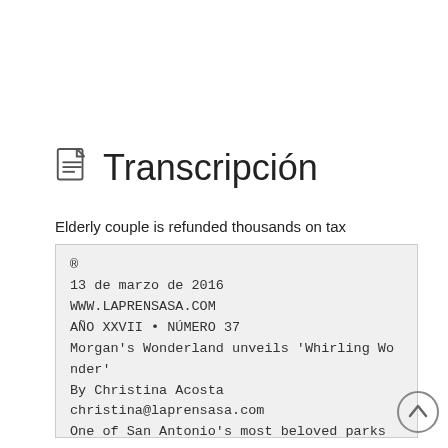Transcripción
Elderly couple is refunded thousands on tax
®
13 de marzo de 2016
WWW.LAPRENSASA.COM
AÑO XXVII • NÚMERO 37
Morgan's Wonderland unveils 'Whirling Wonder'
By Christina Acosta
christina@laprensasa.com
One of San Antonio's most beloved parks will enable individuals with special needs to achieve
new heights.
Morgan's Wonderland added
their fourth wheelchair-accessible